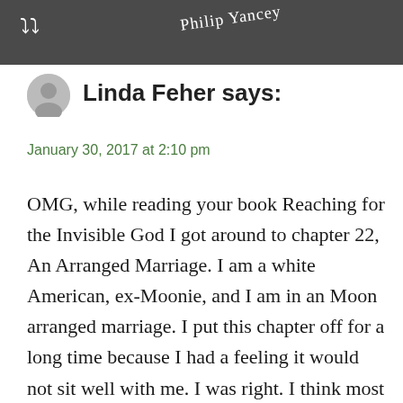Linda Feher says:
January 30, 2017 at 2:10 pm
OMG, while reading your book Reaching for the Invisible God I got around to chapter 22, An Arranged Marriage. I am a white American, ex-Moonie, and I am in an Moon arranged marriage. I put this chapter off for a long time because I had a feeling it would not sit well with me. I was right. I think most westerners have a very romanticized idea of what it is to be living your life in an arranged marriage. But because I have been in this one for 34 years